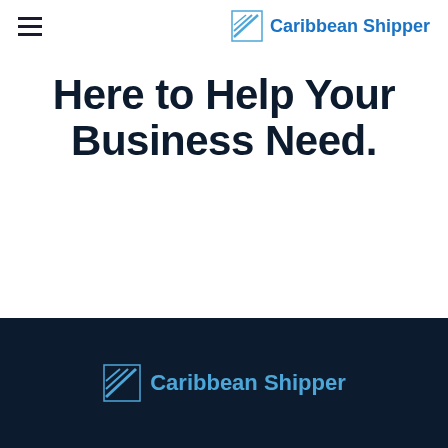Caribbean Shipper
Here to Help Your Business Need.
Caribbean Shipper